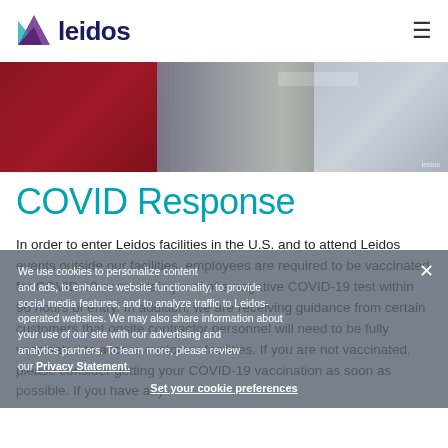leidos
[Figure (photo): Hero image showing military personnel in uniform, with a red/maroon backdrop on the left and camouflage uniform visible on the right with U.S. Air Force insignia]
COVID Response
In order to enter Leidos facilities in the U.S. and to attend Leidos events outside our facilities, employees are required to be vaccinated for COVID-19 or maintain proof of a negative COVID-19 test within 96 hours of entry. In addition, we are receiving guidance from certain customers that onsite contractor personnel will need to be fully vaccinated to access customer facilities. If you are not vaccinated, please consider getting your COVID-19 vaccination as soon as possible. If you have any questions, please contact your Talent Acquisition POC
We use cookies to personalize content and ads, to enhance website functionality, to provide social media features, and to analyze traffic to Leidos-operated websites. We may also share information about your use of our site with our advertising and analytics partners. To learn more, please review our Privacy Statement.
Set your cookie preferences